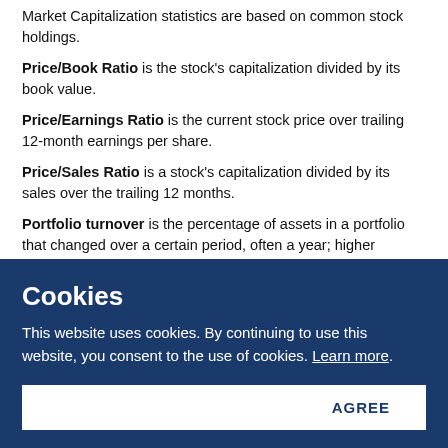Market Capitalization statistics are based on common stock holdings.
Price/Book Ratio is the stock's capitalization divided by its book value.
Price/Earnings Ratio is the current stock price over trailing 12-month earnings per share.
Price/Sales Ratio is a stock's capitalization divided by its sales over the trailing 12 months.
Portfolio turnover is the percentage of assets in a portfolio that changed over a certain period, often a year; higher turnover indicates greater buying and selling activity.
CUSIP identifiers have been provided by CUSIP Global Services, managed on behalf of the American Bankers Association by S&P Global Market Intelligence LLC, and are not for use or dissemination in a manner that would serve as a
Cookies
This website uses cookies. By continuing to use this website, you consent to the use of cookies. Learn more.
AGREE